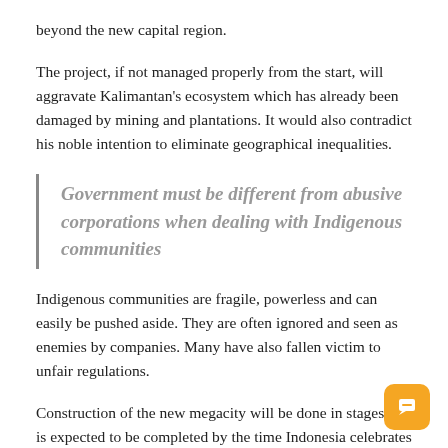beyond the new capital region.
The project, if not managed properly from the start, will aggravate Kalimantan's ecosystem which has already been damaged by mining and plantations. It would also contradict his noble intention to eliminate geographical inequalities.
Government must be different from abusive corporations when dealing with Indigenous communities
Indigenous communities are fragile, powerless and can easily be pushed aside. They are often ignored and seen as enemies by companies. Many have also fallen victim to unfair regulations.
Construction of the new megacity will be done in stages and is expected to be completed by the time Indonesia celebrates 100 years of independence in 2045.
President Widodo aims to move to the new presidential palace in